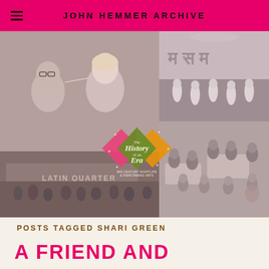JOHN HEMMER ARCHIVE
[Figure (photo): Collage of black and white vintage nightclub photographs: left panel shows an older man with glasses and a blonde woman at a table (Latin Quarter sign visible), upper right shows performers on stage, lower right shows a crowd at a restaurant. Overlaid in center is a diamond-shaped logo reading 'The History of an Era - Mid-Century Nightlife & Performing Arts' with pink, orange and green diamond shapes.]
POSTS TAGGED SHARI GREEN
A FRIEND AND